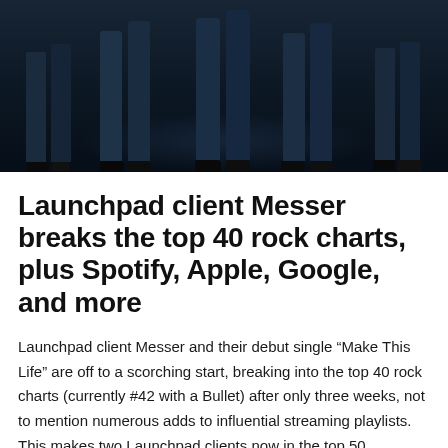[Figure (photo): Dark-toned photo showing the lower bodies and feet of several band members standing together, wearing jeans and dark shoes/boots against a dark background with subtle blue lighting.]
Launchpad client Messer breaks the top 40 rock charts, plus Spotify, Apple, Google, and more
Launchpad client Messer and their debut single “Make This Life” are off to a scorching start, breaking into the top 40 rock charts (currently #42 with a Bullet) after only three weeks, not to mention numerous adds to influential streaming playlists. This makes two Launchpad clients now in the top 50, surrounded by